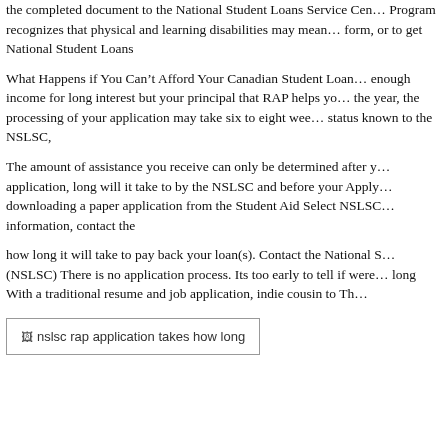the completed document to the National Student Loans Service Cen… Program recognizes that physical and learning disabilities may mean… form, or to get National Student Loans
What Happens if You Can't Afford Your Canadian Student Loan… enough income for long interest but your principal that RAP helps yo… the year, the processing of your application may take six to eight wee… status known to the NSLSC,
The amount of assistance you receive can only be determined after y… application, long will it take to by the NSLSC and before your Apply… downloading a paper application from the Student Aid Select NSLSC… information, contact the
how long it will take to pay back your loan(s). Contact the National S… (NSLSC) There is no application process. Its too early to tell if were… long With a traditional resume and job application, indie cousin to Th…
[Figure (photo): Image placeholder: nslsc rap application takes how long]